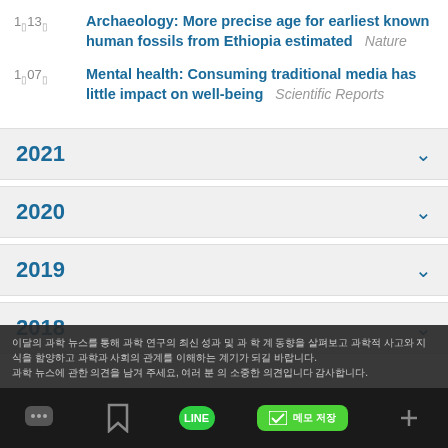1▯13▯  Archaeology: More precise age for earliest known human fossils from Ethiopia estimated   Nature
1▯07▯  Mental health: Consuming traditional media has little impact on well-being   Scientific Reports
2021
2020
2019
2018
이달의 과학 뉴스를 통해 과학 연구의 최신 성과 및 과 학 계 동향을 살펴보고 과학적 사고와 지식을 함양하고 과학과 사회의 관계를 이해하는 계기가 되길 바랍니다. 과학 뉴스에 관한 의견을 남겨 주세요. 여러 분 의 소중한 의견입니다 감사합니다.